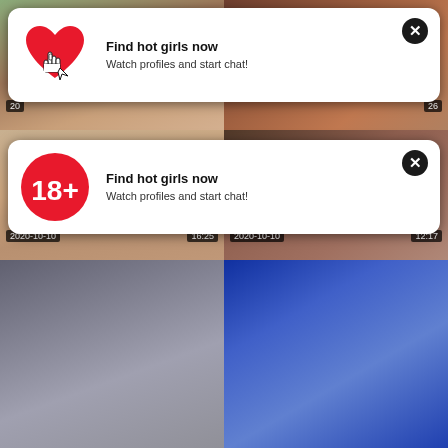[Figure (screenshot): Video thumbnail grid showing adult content website with two ad overlays. Top row: two video thumbnails (one partially hidden by ad). Second row: two video thumbnails with 2020-10-10 timestamps. Bottom row: two video thumbnails. Two popup ads say 'Find hot girls now / Watch profiles and start chat!' with heart and 18+ icons.]
Find hot girls now
Watch profiles and start chat!
Unangenehmer Fremder spritzt in
70 years old mom first gangbang orgy
Find hot girls now
Watch profiles and start chat!
May Thai
I made him cum with a hot cowgirl sex. I